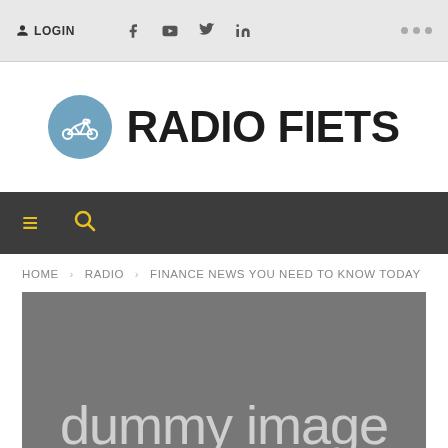LOGIN · Facebook · YouTube · Twitter · LinkedIn · ...
[Figure (logo): Radio Fiets logo with blue bicycle circle icon and bold hand-drawn text 'RADIO FIETS']
≡  🔍
HOME > RADIO > FINANCE NEWS YOU NEED TO KNOW TODAY
[Figure (photo): Dummy image placeholder (dark grey background with light grey text 'dummy image')]